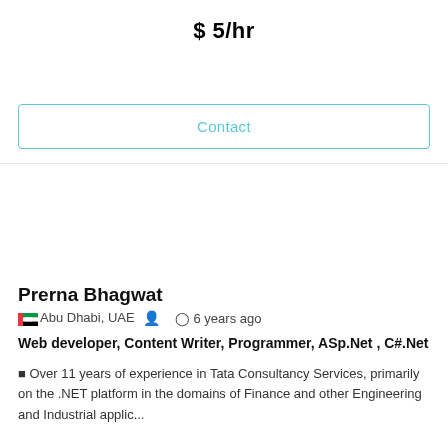$ 5/hr
Contact
Prerna Bhagwat
Abu Dhabi, UAE   6 years ago
Web developer, Content Writer, Programmer, ASp.Net , C#.Net
Over 11 years of experience in Tata Consultancy Services, primarily on the .NET platform in the domains of Finance and other Engineering and Industrial applic...